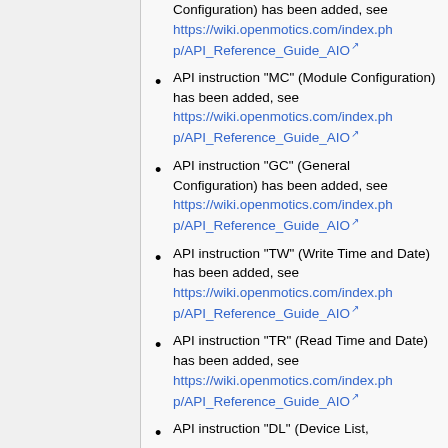API instruction "MC" (Module Configuration) has been added, see https://wiki.openmotics.com/index.php/API_Reference_Guide_AIO
API instruction "GC" (General Configuration) has been added, see https://wiki.openmotics.com/index.php/API_Reference_Guide_AIO
API instruction "TW" (Write Time and Date) has been added, see https://wiki.openmotics.com/index.php/API_Reference_Guide_AIO
API instruction "TR" (Read Time and Date) has been added, see https://wiki.openmotics.com/index.php/API_Reference_Guide_AIO
API instruction "DL" (Device List,